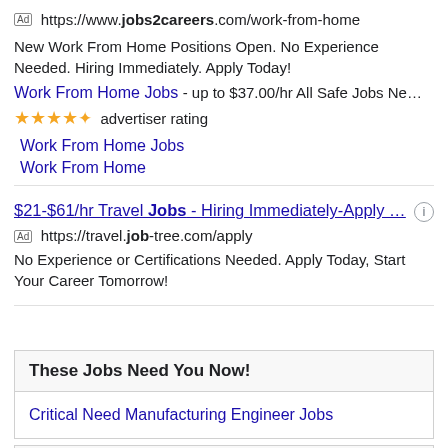[Ad] https://www.jobs2careers.com/work-from-home
New Work From Home Positions Open. No Experience Needed. Hiring Immediately. Apply Today!
Work From Home Jobs - up to $37.00/hr All Safe Jobs Ne…
★★★★✦ advertiser rating
Work From Home Jobs
Work From Home
$21-$61/hr Travel Jobs - Hiring Immediately-Apply …
[Ad] https://travel.job-tree.com/apply
No Experience or Certifications Needed. Apply Today, Start Your Career Tomorrow!
These Jobs Need You Now!
Critical Need Manufacturing Engineer Jobs
High Paid Postings